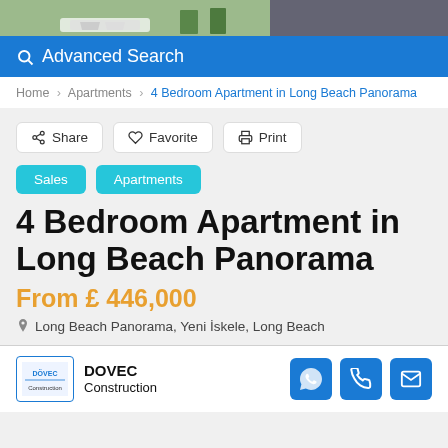[Figure (photo): Photo strip showing outdoor scene with cars and palm trees]
Advanced Search
Home > Apartments > 4 Bedroom Apartment in Long Beach Panorama
Share   Favorite   Print
Sales   Apartments
4 Bedroom Apartment in Long Beach Panorama
From £ 446,000
Long Beach Panorama, Yeni İskele, Long Beach
DOVEC Construction